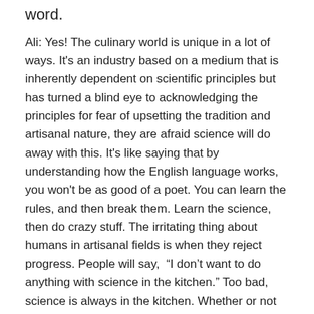word.
Ali: Yes! The culinary world is unique in a lot of ways. It's an industry based on a medium that is inherently dependent on scientific principles but has turned a blind eye to acknowledging the principles for fear of upsetting the tradition and artisanal nature, they are afraid science will do away with this. It's like saying that by understanding how the English language works, you won't be as good of a poet. You can learn the rules, and then break them. Learn the science, then do crazy stuff. The irritating thing about humans in artisanal fields is when they reject progress. People will say, “I don’t want to do anything with science in the kitchen.” Too bad, science is always in the kitchen. Whether or not you want to acknowledge it is the question. This is not avant-garde stuff. There is so much chemistry and physics going on in the kitchen, if the